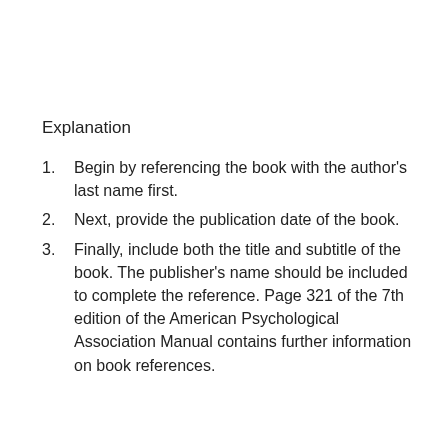Explanation
Begin by referencing the book with the author's last name first.
Next, provide the publication date of the book.
Finally, include both the title and subtitle of the book. The publisher's name should be included to complete the reference. Page 321 of the 7th edition of the American Psychological Association Manual contains further information on book references.